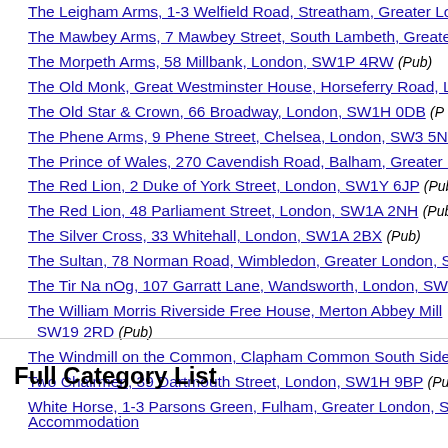The Leigham Arms, 1-3 Welfield Road, Streatham, Greater Lo...
The Mawbey Arms, 7 Mawbey Street, South Lambeth, Greater...
The Morpeth Arms, 58 Millbank, London, SW1P 4RW (Pub)
The Old Monk, Great Westminster House, Horseferry Road, L...
The Old Star & Crown, 66 Broadway, London, SW1H 0DB (P...
The Phene Arms, 9 Phene Street, Chelsea, London, SW3 5NY...
The Prince of Wales, 270 Cavendish Road, Balham, Greater Le...
The Red Lion, 2 Duke of York Street, London, SW1Y 6JP (Pub...
The Red Lion, 48 Parliament Street, London, SW1A 2NH (Pub...
The Silver Cross, 33 Whitehall, London, SW1A 2BX (Pub)
The Sultan, 78 Norman Road, Wimbledon, Greater London, SW...
The Tir Na nOg, 107 Garratt Lane, Wandsworth, London, SW...
The William Morris Riverside Free House, Merton Abbey Mill... SW19 2RD (Pub)
The Windmill on the Common, Clapham Common South Side...
Two Chairmen, 39 Dartmouth Street, London, SW1H 9BP (Pub...
White Horse, 1-3 Parsons Green, Fulham, Greater London, SW...
Full Category List
Accommodation